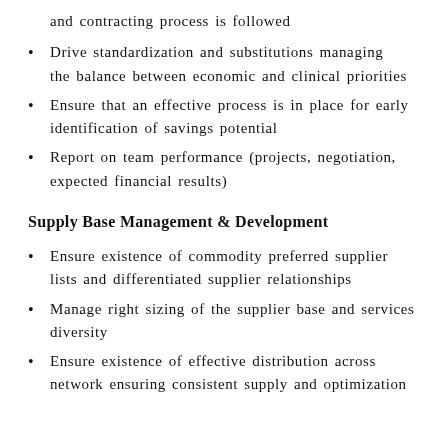and contracting process is followed
Drive standardization and substitutions managing the balance between economic and clinical priorities
Ensure that an effective process is in place for early identification of savings potential
Report on team performance (projects, negotiation, expected financial results)
Supply Base Management & Development
Ensure existence of commodity preferred supplier lists and differentiated supplier relationships
Manage right sizing of the supplier base and services diversity
Ensure existence of effective distribution across network ensuring consistent supply and optimization